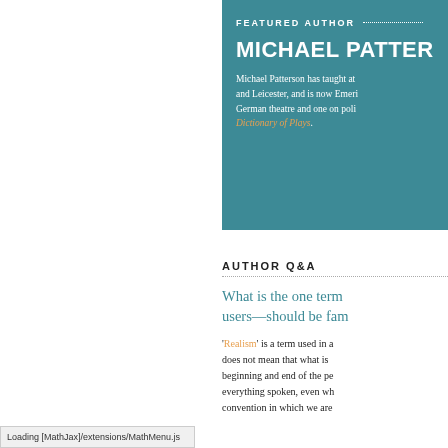FEATURED AUTHOR
MICHAEL PATTERSON
Michael Patterson has taught at and Leicester, and is now Emeritus German theatre and one on politics, Dictionary of Plays.
AUTHOR Q&A
What is the one term users—should be familiar with?
'Realism' is a term used in a does not mean that what is beginning and end of the performance everything spoken, even when convention in which we are